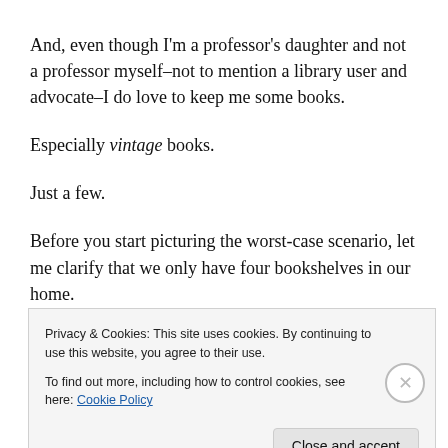And, even though I'm a professor's daughter and not a professor myself–not to mention a library user and advocate–I do love to keep me some books.
Especially vintage books.
Just a few.
Before you start picturing the worst-case scenario, let me clarify that we only have four bookshelves in our home.
Okay, fine.  We have books in nearly every room (on
Privacy & Cookies: This site uses cookies. By continuing to use this website, you agree to their use.
To find out more, including how to control cookies, see here: Cookie Policy
Close and accept